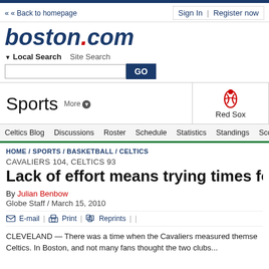boston.com
« Back to homepage
Sign In | Register now
▼ Local Search   Site Search
Sports   More ▼   Red Sox   Patriots
Celtics Blog | Discussions | Roster | Schedule | Statistics | Standings | Score
HOME / SPORTS / BASKETBALL / CELTICS
CAVALIERS 104, CELTICS 93
Lack of effort means trying times for Celti…
By Julian Benbow
Globe Staff / March 15, 2010
✉ E-mail | 🖨 Print | Reprints | |
CLEVELAND — There was a time when the Cavaliers measured themse… Celtics. In Boston, and not many fans thought the two clubs...